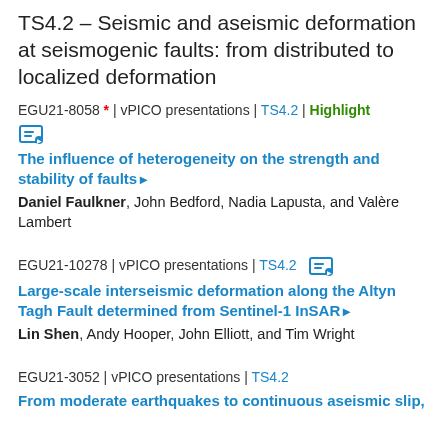TS4.2 – Seismic and aseismic deformation at seismogenic faults: from distributed to localized deformation
EGU21-8058 * | vPICO presentations | TS4.2 | Highlight
The influence of heterogeneity on the strength and stability of faults▶
Daniel Faulkner, John Bedford, Nadia Lapusta, and Valère Lambert
EGU21-10278 | vPICO presentations | TS4.2
Large-scale interseismic deformation along the Altyn Tagh Fault determined from Sentinel-1 InSAR▶
Lin Shen, Andy Hooper, John Elliott, and Tim Wright
EGU21-3052 | vPICO presentations | TS4.2
From moderate earthquakes to continuous aseismic slip,